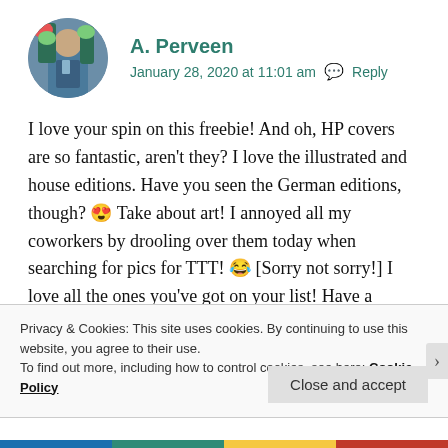[Figure (photo): Circular avatar photo of A. Perveen, showing a person with plants/flowers in the background]
A. Perveen
January 28, 2020 at 11:01 am  Reply
I love your spin on this freebie! And oh, HP covers are so fantastic, aren't they? I love the illustrated and house editions. Have you seen the German editions, though? 😍 Take about art! I annoyed all my coworkers by drooling over them today when searching for pics for TTT! 😂 [Sorry not sorry!] I love all the ones you've got on your list! Have a
Privacy & Cookies: This site uses cookies. By continuing to use this website, you agree to their use.
To find out more, including how to control cookies, see here: Cookie Policy
Close and accept